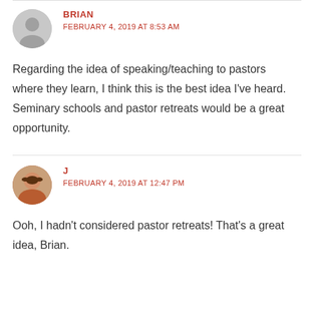BRIAN
FEBRUARY 4, 2019 AT 8:53 AM
Regarding the idea of speaking/teaching to pastors where they learn, I think this is the best idea I've heard. Seminary schools and pastor retreats would be a great opportunity.
J
FEBRUARY 4, 2019 AT 12:47 PM
Ooh, I hadn't considered pastor retreats! That's a great idea, Brian.